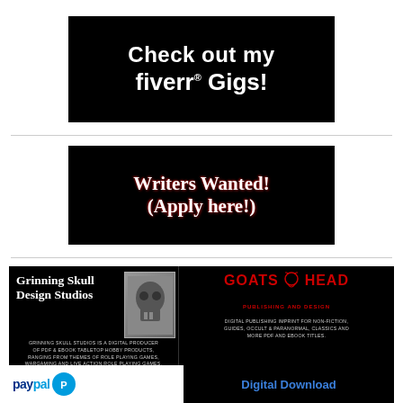[Figure (infographic): Black banner ad reading 'Check out my fiverr® Gigs!' in white bold text on black background]
[Figure (infographic): Black banner ad with decorative font reading 'Writers Wanted! (Apply here!)' in white text with red shadow on black background]
[Figure (infographic): Black promotional banner featuring Grinning Skull Design Studios with skull illustration, Goats Head Publishing and Design logo in red, PayPal logo area, and 'Digital Download' text in blue]